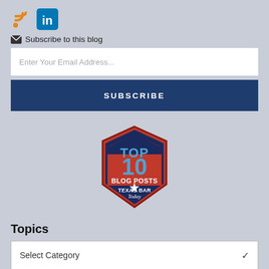[Figure (logo): RSS feed icon (orange wifi-style icon)]
[Figure (logo): LinkedIn icon (blue square with 'in')]
✉ Subscribe to this blog
Enter Your Email Address...
SUBSCRIBE
[Figure (logo): Top 10 Blog Posts Texas Bar Today badge — red and dark blue hexagon shield with text TOP 10 BLOG POSTS TEXAS BAR Today and a star]
Topics
Select Category